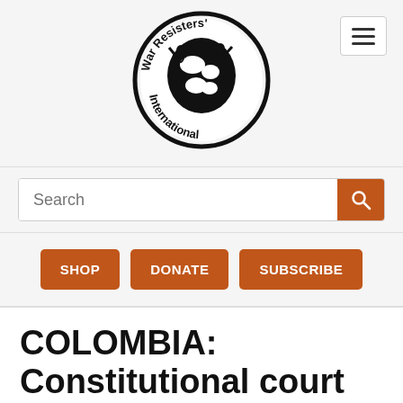[Figure (logo): War Resisters' International circular logo with globe and figures, black and white]
Search
SHOP
DONATE
SUBSCRIBE
COLOMBIA: Constitutional court recognises Jhonatan as a CO - keep up the pressure for his